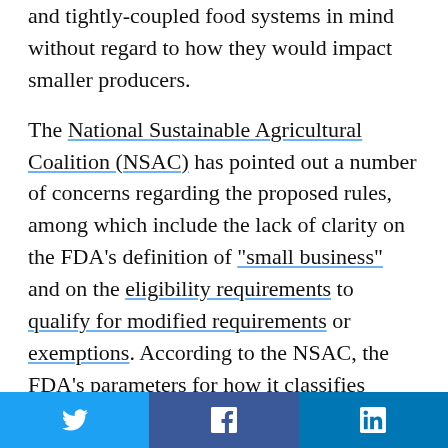and tightly-coupled food systems in mind without regard to how they would impact smaller producers.
The National Sustainable Agricultural Coalition (NSAC) has pointed out a number of concerns regarding the proposed rules, among which include the lack of clarity on the FDA’s definition of “small business” and on the eligibility requirements to qualify for modified requirements or exemptions. According to the NSAC, the FDA’s parameters for how it classifies “qualified facilities” does not accurately consider whether they would be able to shoulder the costs of complying with
[Figure (other): Social share buttons: Twitter (blue), Facebook (dark blue), LinkedIn (dark blue)]